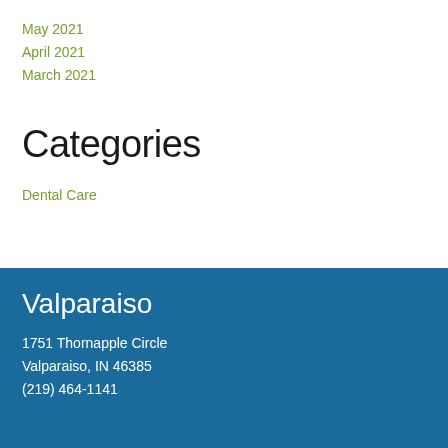May 2021
April 2021
March 2021
Categories
Dental Care
Valparaiso
1751 Thornapple Circle
Valparaiso, IN 46385
(219) 464-1141